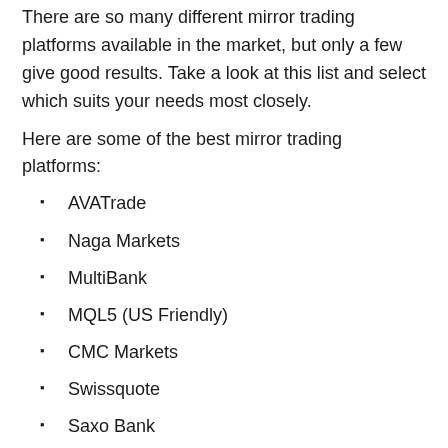There are so many different mirror trading platforms available in the market, but only a few give good results. Take a look at this list and select which suits your needs most closely.
Here are some of the best mirror trading platforms:
AVATrade
Naga Markets
MultiBank
MQL5 (US Friendly)
CMC Markets
Swissquote
Saxo Bank
FXCM
Go with that mirror trading platform regulated or hold by